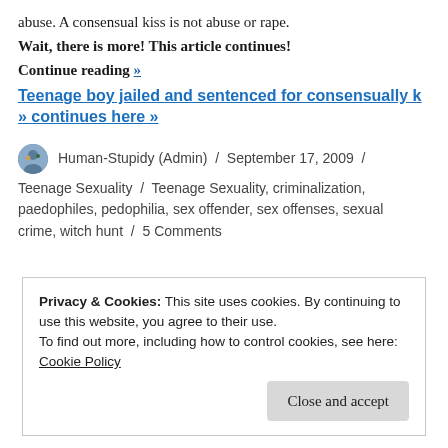abuse. A consensual kiss is not abuse or rape.
Wait, there is more! This article continues! Continue reading »
Teenage boy jailed and sentenced for consensually k… » continues here »
Human-Stupidy (Admin) / September 17, 2009 / Teenage Sexuality / Teenage Sexuality, criminalization, paedophiles, pedophilia, sex offender, sex offenses, sexual crime, witch hunt / 5 Comments
Privacy & Cookies: This site uses cookies. By continuing to use this website, you agree to their use. To find out more, including how to control cookies, see here: Cookie Policy Close and accept